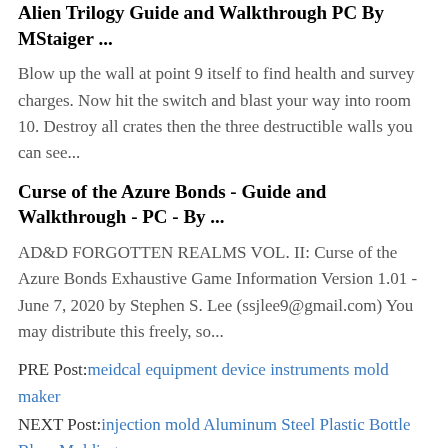Alien Trilogy  Guide and Walkthrough  PC  By MStaiger ...
Blow up the wall at point 9 itself to find health and survey charges. Now hit the switch and blast your way into room 10. Destroy all crates then the three destructible walls you can see...
Curse of the Azure Bonds - Guide and Walkthrough - PC - By ...
AD&D FORGOTTEN REALMS VOL. II: Curse of the Azure Bonds Exhaustive Game Information Version 1.01 - June 7, 2020 by Stephen S. Lee (ssjlee9@gmail.com) You may distribute this freely, so...
PRE Post: meidcal equipment device instruments mold maker
NEXT Post: injection mold Aluminum Steel Plastic Bottle Blow Molding
Plastic trash can mould for sale>Custom thin wall